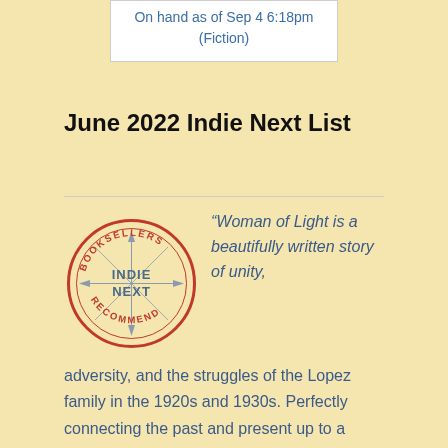On hand as of Sep 4 6:18pm
(Fiction)
June 2022 Indie Next List
[Figure (logo): Indie Next Booksellers Recommend circular badge/seal logo with compass rose design]
“Woman of Light is a beautifully written story of unity, adversity, and the struggles of the Lopez family in the 1920s and 1930s. Perfectly connecting the past and present up to a meeting point for the family. I 100%